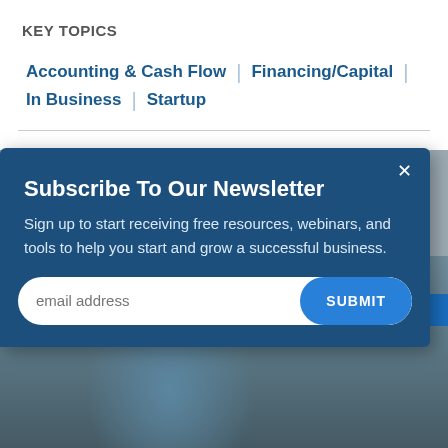KEY TOPICS
Accounting & Cash Flow | Financing/Capital | In Business | Startup
[Figure (photo): Person in blue shirt reviewing documents at a desk with a laptop]
Subscribe To Our Newsletter
Sign up to start receiving free resources, webinars, and tools to help you start and grow a successful business.
email address
SUBMIT